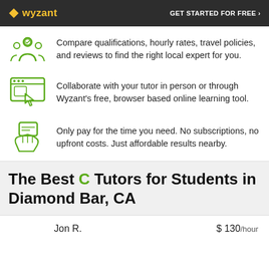wyzant | GET STARTED FOR FREE ›
Compare qualifications, hourly rates, travel policies, and reviews to find the right local expert for you.
Collaborate with your tutor in person or through Wyzant's free, browser based online learning tool.
Only pay for the time you need. No subscriptions, no upfront costs. Just affordable results nearby.
The Best C Tutors for Students in Diamond Bar, CA
Jon R.  $ 130/hour